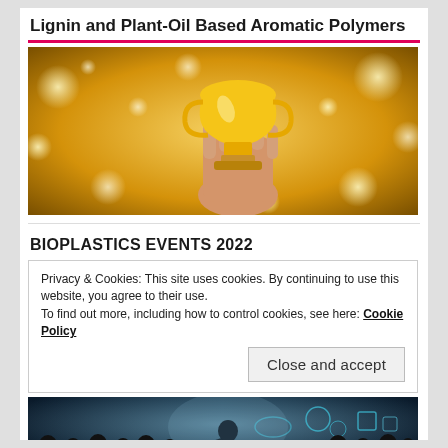Lignin and Plant-Oil Based Aromatic Polymers
[Figure (photo): A hand holding a golden trophy against a golden bokeh background]
BIOPLASTICS EVENTS 2022
Privacy & Cookies: This site uses cookies. By continuing to use this website, you agree to their use.
To find out more, including how to control cookies, see here: Cookie Policy
Close and accept
[Figure (photo): Silhouettes of audience watching a presenter on a stage with a futuristic digital/technology themed backdrop]